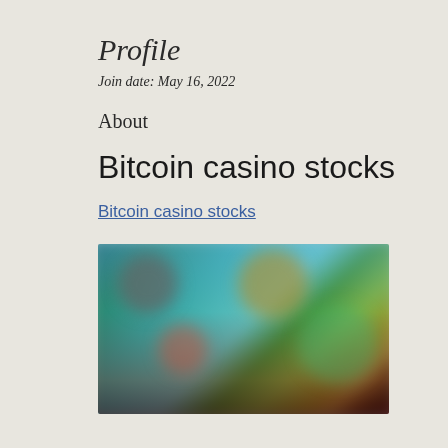Profile
Join date: May 16, 2022
About
Bitcoin casino stocks
Bitcoin casino stocks
[Figure (photo): Blurred screenshot of a casino or gaming interface with colorful characters and interface elements]